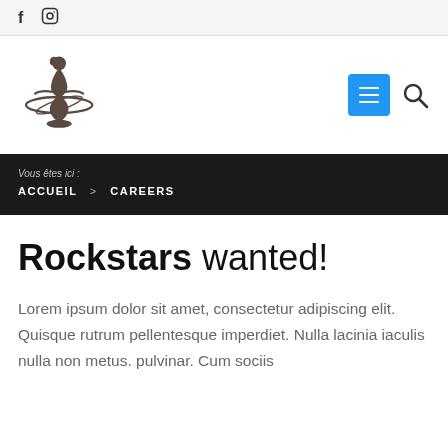f  (instagram icon)
[Figure (logo): Dark silhouette logo of a figure with a circular element, resembling a dancer or performer on a pedestal]
Vous êtes ici :
ACCUEIL > CAREERS
Rockstars wanted!
Lorem ipsum dolor sit amet, consectetur adipiscing elit. Quisque rutrum pellentesque imperdiet. Nulla lacinia iaculis nulla non metus. pulvinar. Cum sociis